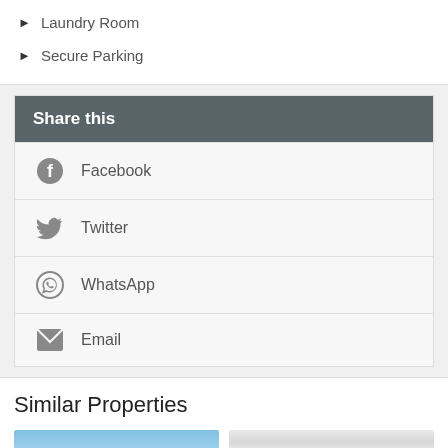Laundry Room
Secure Parking
Share this
Facebook
Twitter
WhatsApp
Email
Similar Properties
[Figure (photo): Exterior building photo with blue sky]
[Figure (photo): Interior room photo with white walls and door]